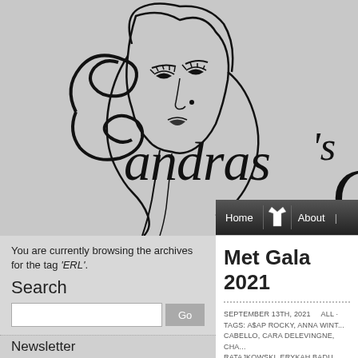[Figure (logo): Sandra's Closet logo with illustrated woman face and cursive script text 'Sandra's Cl...' on gray background]
Home | About
You are currently browsing the archives for the tag 'ERL'.
Search
Met Gala 2021
SEPTEMBER 13TH, 2021    ALL  TAGS: A$AP ROCKY, ANNA WINT... CABELLO, CARA DELEVINGNE, CHA... RATAJKOWSKI, ERYKAH BADU, GIV... HAMISH BOWLES, HELEN LASICHA... LÖWE, MET GALA 2021, MIU MIU, NI... SIENNA MILLER, VIRGIL ABLOH, WH... MULLIGAN, DIANE KRUGER, EMILY... KARLIE KLOSS, KENDALL, JENME...
Newsletter